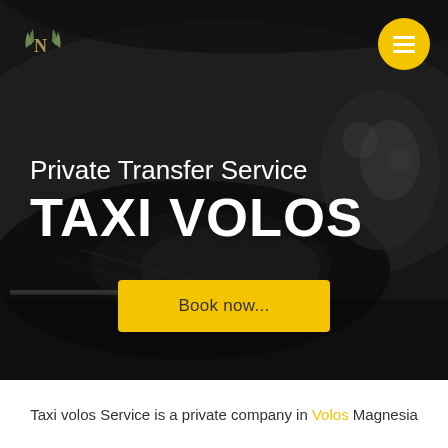[Figure (photo): Dark background car headlight photo — close-up of a black luxury car headlight with dramatic lighting, serving as hero background for a taxi service website]
Private Transfer Service
TAXI VOLOS
Book now...
Taxi volos Service is a private company in Volos Magnesia